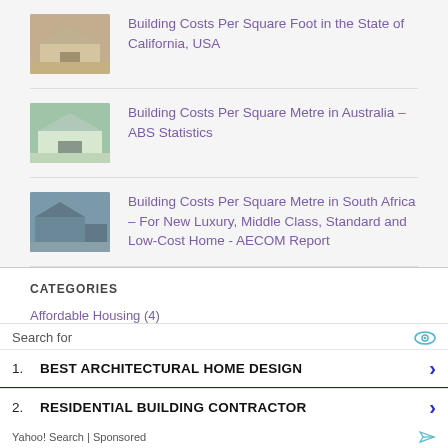Building Costs Per Square Foot in the State of California, USA
Building Costs Per Square Metre in Australia – ABS Statistics
Building Costs Per Square Metre in South Africa – For New Luxury, Middle Class, Standard and Low-Cost Home - AECOM Report
CATEGORIES
Affordable Housing (4)
Search for
1. BEST ARCHITECTURAL HOME DESIGN
2. RESIDENTIAL BUILDING CONTRACTOR
Yahoo! Search | Sponsored